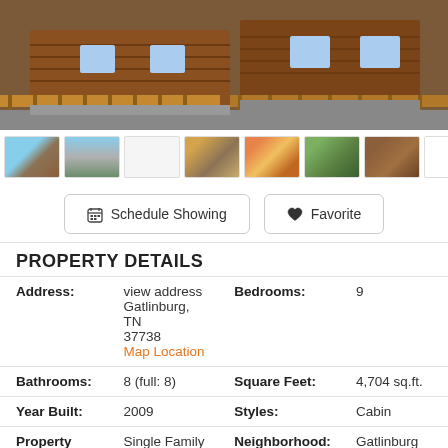[Figure (photo): Main photo of a large log cabin/chalet with wooden decks, railings, and stone accents]
[Figure (photo): Row of 8 thumbnail photos of the property from various angles and interior/exterior views]
Schedule Showing | Favorite
PROPERTY DETAILS
| Label | Value | Label | Value |
| --- | --- | --- | --- |
| Address: | view address
Gatlinburg, TN 37738
Map Location | Bedrooms: | 9 |
| Bathrooms: | 8 (full: 8) | Square Feet: | 4,704 sq.ft. |
| Year Built: | 2009 | Styles: | Cabin |
| Property | Single Family | Neighborhood: | Gatlinburg |